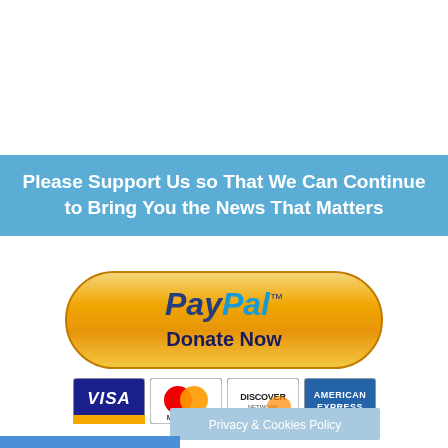Please Support Us so That We Can Continue to Bring You the News That Matters
[Figure (logo): PayPal Donate Now button with golden/orange rounded rectangle style, showing PayPal logo and 'Donate Now' text, with credit card logos below: VISA, MasterCard, Discover, American Express]
Privacy & Cookies Policy